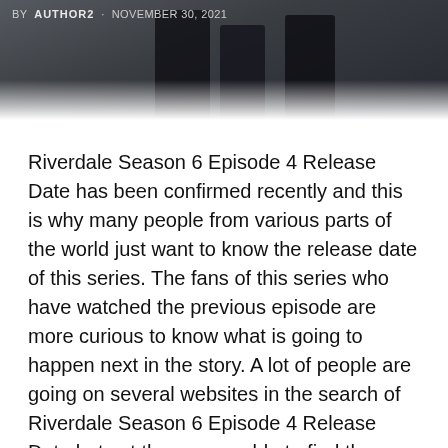[Figure (photo): Dark cinematic photo banner showing figures, partially obscured, with a dark overlay. Byline text overlay: BY AUTHOR2 · NOVEMBER 30, 2021]
BY AUTHOR2 · NOVEMBER 30, 2021
Riverdale Season 6 Episode 4 Release Date has been confirmed recently and this is why many people from various parts of the world just want to know the release date of this series. The fans of this series who have watched the previous episode are more curious to know what is going to happen next in the story. A lot of people are going on several websites in the search of Riverdale Season 6 Episode 4 Release Date but yet they are unable to find the exact data from the official sources.
After observing all these things the situation of the fans of this series. Now we are here with the complete